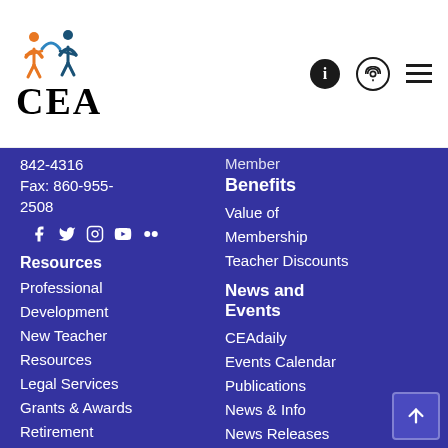[Figure (logo): CEA logo with colorful figures icon above the letters CEA in serif font]
842-4316
Fax: 860-955-2508
[Figure (infographic): Social media icons: Facebook, Twitter, Instagram, YouTube, Flickr]
Resources
Professional Development
New Teacher Resources
Legal Services
Grants & Awards
Retirement Information
Special Education
Member Benefits
Value of Membership
Teacher Discounts
News and Events
CEAdaily
Events Calendar
Publications
News & Info
News Releases
CT Ed Watch
CEA Podcast
CEA Videos